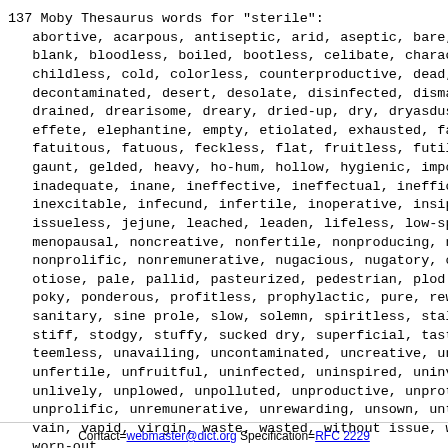137 Moby Thesaurus words for "sterile":
   abortive, acarpous, antiseptic, arid, aseptic, bare,
   blank, bloodless, boiled, bootless, celibate, charac-
   childless, cold, colorless, counterproductive, dead,
   decontaminated, desert, desolate, disinfected, disma-
   drained, drearisome, dreary, dried-up, dry, dryasdus-
   effete, elephantine, empty, etiolated, exhausted, fa-
   fatuitous, fatuous, feckless, flat, fruitless, futil-
   gaunt, gelded, heavy, ho-hum, hollow, hygienic, impo-
   inadequate, inane, ineffective, ineffectual, ineffic-
   inexcitable, infecund, infertile, inoperative, insip-
   issueless, jejune, leached, leaden, lifeless, low-sp-
   menopausal, noncreative, nonfertile, nonproducing, n-
   nonprolific, nonremunerative, nugacious, nugatory, o-
   otiose, pale, pallid, pasteurized, pedestrian, plod-
   poky, ponderous, profitless, prophylactic, pure, rew-
   sanitary, sine prole, slow, solemn, spiritless, stal-
   stiff, stodgy, stuffy, sucked dry, superficial, tast-
   teemless, unavailing, uncontaminated, uncreative, un-
   unfertile, unfruitful, uninfected, uninspired, uninv-
   unlively, unplowed, unpolluted, unproductive, unpro-
   unprolific, unremunerative, unrewarding, unsown, unt-
   vain, vapid, virgin, waste, wasted, without issue, w-
   worn-out
Contact=webmaster@dict.org Specification=RFC 2229